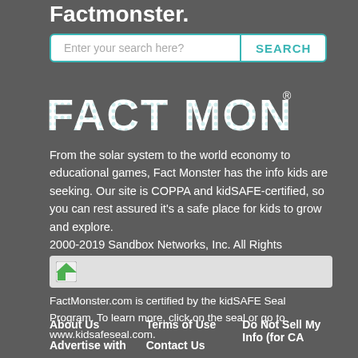Factmonster.
Enter your search here?
[Figure (logo): Fact Monster logo in white bold stylized text with decorative dot patterns on letters]
From the solar system to the world economy to educational games, Fact Monster has the info kids are seeking. Our site is COPPA and kidSAFE-certified, so you can rest assured it's a safe place for kids to grow and explore.
2000-2019 Sandbox Networks, Inc. All Rights Reserved.
[Figure (illustration): kidSAFE Seal certification banner - light gray rectangular banner with small certification seal icon]
FactMonster.com is certified by the kidSAFE Seal Program. To learn more, click on the seal or go to www.kidsafeseal.com.
About Us
Advertise with
Terms of Use
Contact Us
Do Not Sell My Info (for CA